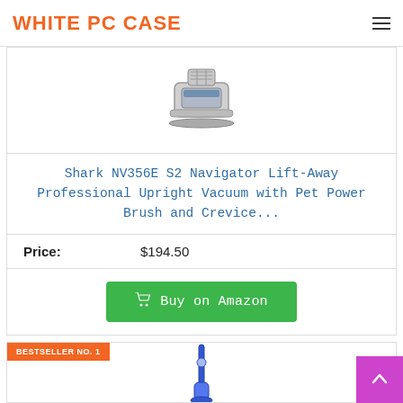WHITE PC CASE
[Figure (photo): Shark vacuum cleaner product image (upright vacuum, top portion visible)]
Shark NV356E S2 Navigator Lift-Away Professional Upright Vacuum with Pet Power Brush and Crevice...
Price: $194.50
Buy on Amazon
BESTSELLER NO. 1
[Figure (photo): Second vacuum cleaner product image (upright canister style, blue, partially visible)]